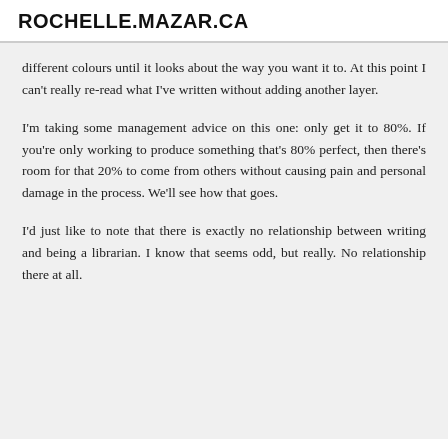ROCHELLE.MAZAR.CA
different colours until it looks about the way you want it to. At this point I can't really re-read what I've written without adding another layer.
I'm taking some management advice on this one: only get it to 80%. If you're only working to produce something that's 80% perfect, then there's room for that 20% to come from others without causing pain and personal damage in the process. We'll see how that goes.
I'd just like to note that there is exactly no relationship between writing and being a librarian. I know that seems odd, but really. No relationship there at all.